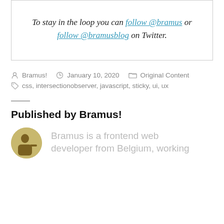To stay in the loop you can follow @bramus or follow @bramusblog on Twitter.
Bramus!  January 10, 2020  Original Content  css, intersectionobserver, javascript, sticky, ui, ux
Published by Bramus!
Bramus is a frontend web developer from Belgium, working